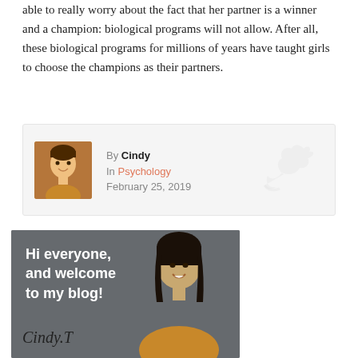able to really worry about the fact that her partner is a winner and a champion: biological programs will not allow. After all, these biological programs for millions of years have taught girls to choose the champions as their partners.
By Cindy
In Psychology
February 25, 2019
[Figure (photo): Blog banner with photo of a smiling woman with long dark hair wearing an orange top, on a dark gray background. Text overlay reads 'Hi everyone, and welcome to my blog!' with signature 'Cindy.T' at the bottom.]